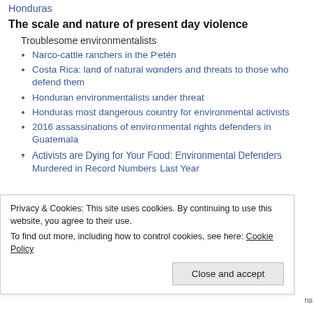Honduras
The scale and nature of present day violence
Troublesome environmentalists
Narco-cattle ranchers in the Petén
Costa Rica: land of natural wonders and threats to those who defend them
Honduran environmentalists under threat
Honduras most dangerous country for environmental activists
2016 assassinations of environmental rights defenders in Guatemala
Activists are Dying for Your Food: Environmental Defenders Murdered in Record Numbers Last Year
Privacy & Cookies: This site uses cookies. By continuing to use this website, you agree to their use. To find out more, including how to control cookies, see here: Cookie Policy